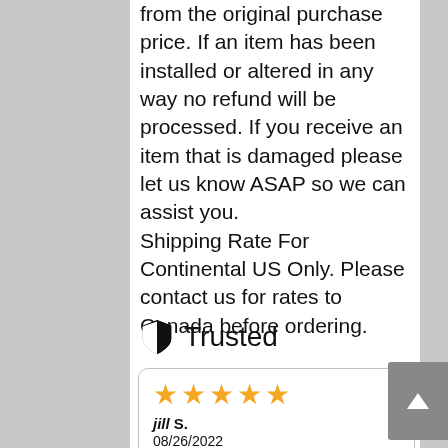from the original purchase price. If an item has been installed or altered in any way no refund will be processed. If you receive an item that is damaged please let us know ASAP so we can assist you. Shipping Rate For Continental US Only. Please contact us for rates to Canada before ordering.
Trusted
[Figure (other): Review card with 5 orange stars, reviewer name 'jill S.', date '08/26/2022', and review text 'Great product - easy website to navigate ...']